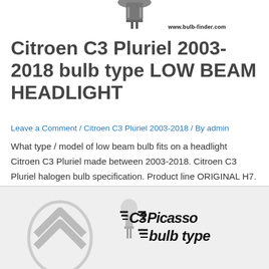[Figure (photo): Top portion of a car headlight bulb (H7 type) against white background with watermark www.bulb-finder.com]
Citroen C3 Pluriel 2003-2018 bulb type LOW BEAM HEADLIGHT
Leave a Comment / Citroen C3 Pluriel 2003-2018 / By admin
What type / model of low beam bulb fits on a headlight Citroen C3 Pluriel made between 2003-2018. Citroen C3 Pluriel halogen bulb specification. Product line ORIGINAL H7. Order number SKU 64210. ECE category, fitting H7. Technical data 12V 55W PX26d.
[Figure (photo): Bottom section showing Citroen logo, a headlight bulb image, and stylized text reading C3 Picasso bulb type with flame/speed graphic motif]